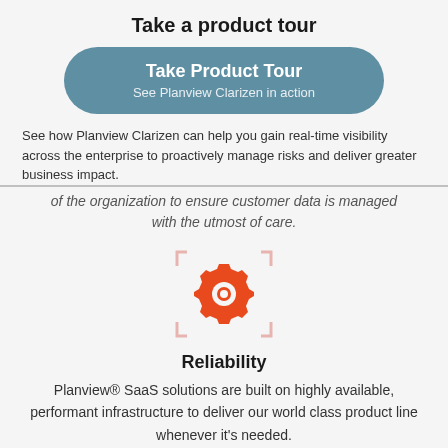Take a product tour
[Figure (other): Rounded rectangle button with teal/steel-blue background. Bold white text 'Take Product Tour' and subtitle 'See Planview Clarizen in action']
See how Planview Clarizen can help you gain real-time visibility across the enterprise to proactively manage risks and deliver greater business impact.
of the organization to ensure customer data is managed with the utmost of care.
[Figure (illustration): Orange gear/cog icon centered inside a light pink/salmon bracket/viewfinder frame made of four corner bracket marks]
Reliability
Planview® SaaS solutions are built on highly available, performant infrastructure to deliver our world class product line whenever it's needed.